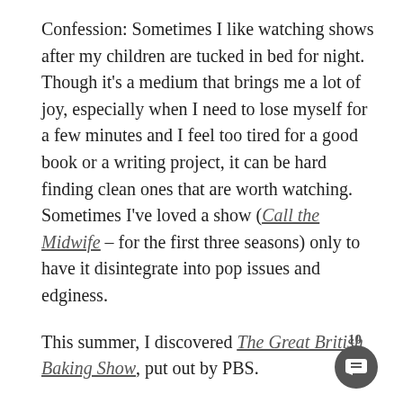Confession: Sometimes I like watching shows after my children are tucked in bed for night. Though it's a medium that brings me a lot of joy, especially when I need to lose myself for a few minutes and I feel too tired for a good book or a writing project, it can be hard finding clean ones that are worth watching. Sometimes I've loved a show (Call the Midwife – for the first three seasons) only to have it disintegrate into pop issues and edginess.
This summer, I discovered The Great British Baking Show, put out by PBS.
10